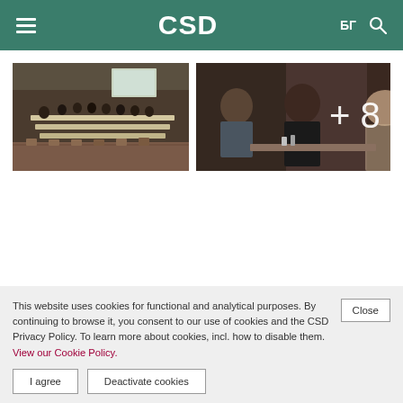CSD | БГ
[Figure (photo): Conference room with people seated at long tables facing a projection screen]
[Figure (photo): People seated at a conference table, with a +8 overlay indicating 8 more photos]
This website uses cookies for functional and analytical purposes. By continuing to browse it, you consent to our use of cookies and the CSD Privacy Policy. To learn more about cookies, incl. how to disable them. View our Cookie Policy.
I agree | Deactivate cookies